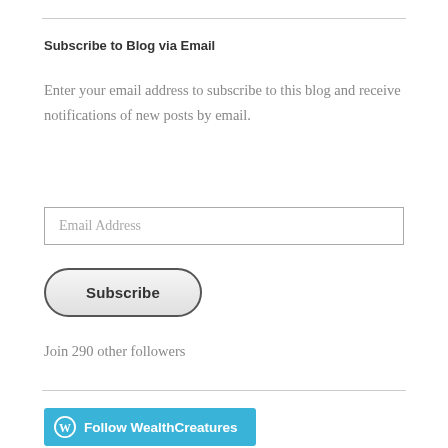Subscribe to Blog via Email
Enter your email address to subscribe to this blog and receive notifications of new posts by email.
Email Address
Subscribe
Join 290 other followers
Follow WealthCreatures